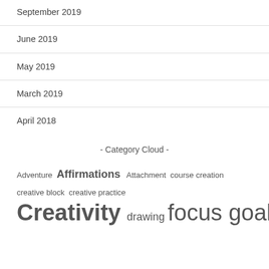September 2019
June 2019
May 2019
March 2019
April 2018
- Category Cloud -
Adventure  Affirmations  Attachment  course creation  creative block  creative practice  Creativity  drawing  focus  goal